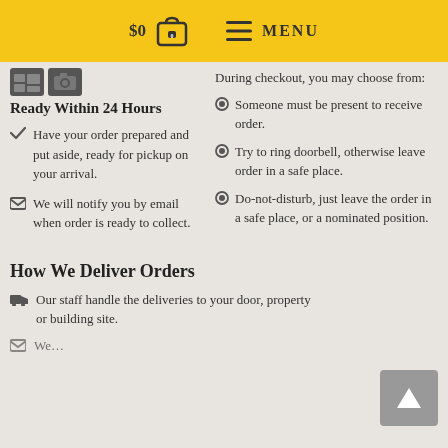$0  [cart icon: 0]  ☰ MENU
Ready Within 24 Hours
Have your order prepared and put aside, ready for pickup on your arrival.
We will notify you by email when order is ready to collect.
During checkout, you may choose from:
Someone must be present to receive order.
Try to ring doorbell, otherwise leave order in a safe place.
Do-not-disturb, just leave the order in a safe place, or a nominated position.
How We Deliver Orders
Our staff handle the deliveries to your door, property or building site.
We…